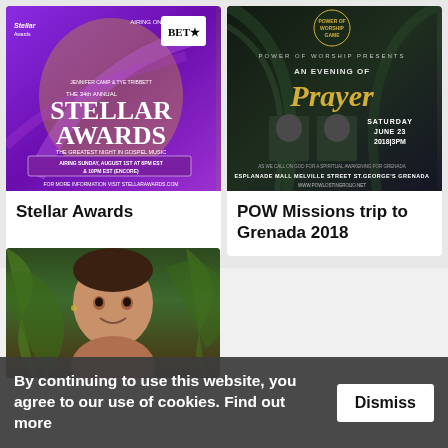[Figure (photo): Stellar Awards promotional poster on purple background with gospel artists, BET logo, airing Sunday August 1st at 8PM EST and 10PM EST encore, stellarawards.com]
[Figure (photo): Power of Worship Presents: An Evening of Prayer, Saturday June 23 2018 3PM, Esplanade Mall, Melville Street, St. George's Grenada, dark background with event speakers]
Stellar Awards
POW Missions trip to Grenada 2018
[Figure (photo): Photo of a smiling young child with plants/greenery in the background]
By continuing to use this website, you agree to our use of cookies. Find out more